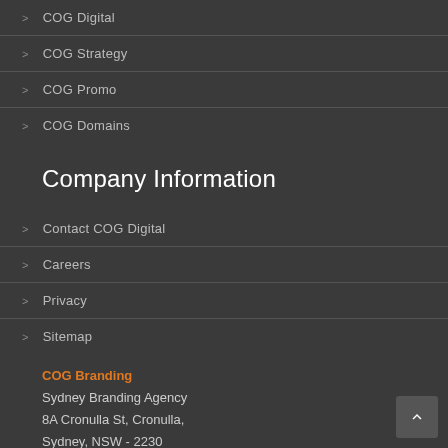> COG Digital
> COG Strategy
> COG Promo
> COG Domains
Company Information
> Contact COG Digital
> Careers
> Privacy
> Sitemap
COG Branding
Sydney Branding Agency
8A Cronulla St, Cronulla,
Sydney, NSW - 2230